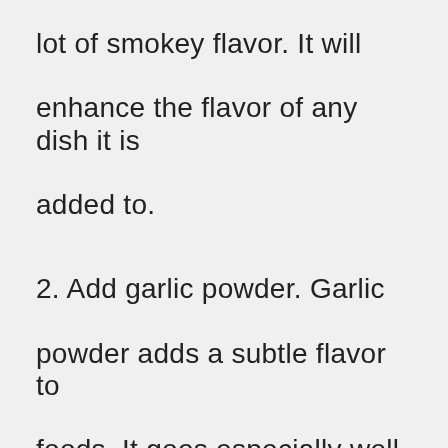lot of smokey flavor. It will enhance the flavor of any dish it is added to.
2. Add garlic powder. Garlic powder adds a subtle flavor to foods. It goes especially well with french fries.